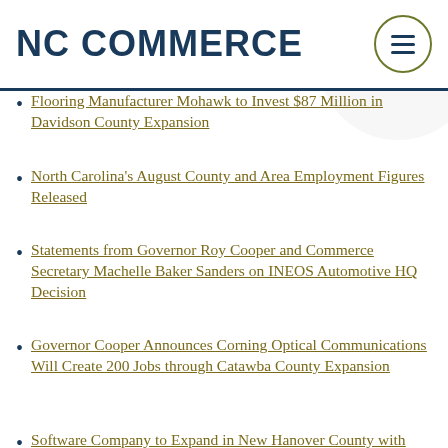NC COMMERCE
Flooring Manufacturer Mohawk to Invest $87 Million in Davidson County Expansion
North Carolina's August County and Area Employment Figures Released
Statements from Governor Roy Cooper and Commerce Secretary Machelle Baker Sanders on INEOS Automotive HQ Decision
Governor Cooper Announces Corning Optical Communications Will Create 200 Jobs through Catawba County Expansion
Software Company to Expand in New Hanover County with 104 New Jobs
More
CONTACT INFORMATION